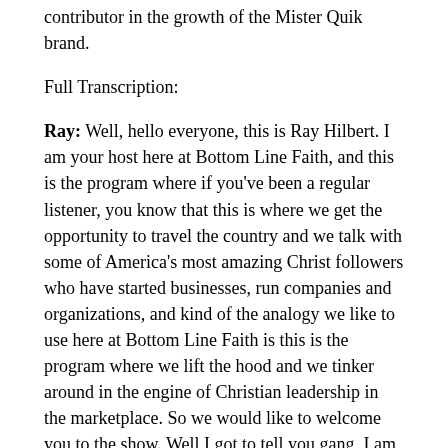contributor in the growth of the Mister Quik brand.
Full Transcription:
Ray: Well, hello everyone, this is Ray Hilbert. I am your host here at Bottom Line Faith, and this is the program where if you’ve been a regular listener, you know that this is where we get the opportunity to travel the country and we talk with some of America’s most amazing Christ followers who have started businesses, run companies and organizations, and kind of the analogy we like to use here at Bottom Line Faith is this is the program where we lift the hood and we tinker around in the engine of Christian leadership in the marketplace. So we would like to welcome you to the show. Well I got to tell you gang, I am really excited to be bringing today’s program to you for a couple of reasons: one reason is we spend a lot of time on the road from coast to coast, we go out to interview guests, but I have the fortune today to